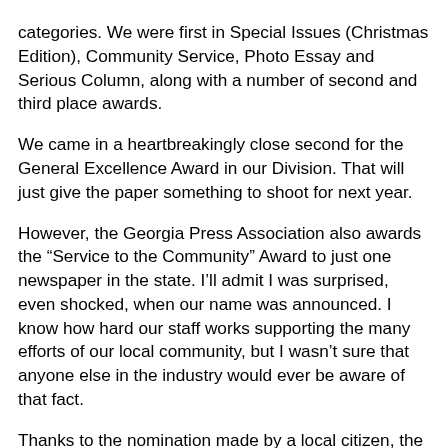categories.  We were first in Special Issues (Christmas Edition), Community Service, Photo Essay and Serious Column, along with a number of second and third place awards. We came in a heartbreakingly close second for the General Excellence Award in our Division.   That will just give the paper something to shoot for next year. However, the Georgia Press Association also awards the “Service to the Community” Award to just one newspaper in the state.  I’ll admit I was surprised, even shocked, when our name was announced. I know how hard our staff works supporting the many efforts of our local community, but I wasn’t sure that anyone else in the industry would ever be aware of that fact. Thanks to the nomination made by a local citizen, the Donalsonville News made it to the top in the category by which I measure success.  Are we making a difference in our community?   Are we helping to promote new ideas and different thinking?  Are we reporting on our community's successes, from the football field to local industry, rather than just talking about what isn’t happening? While the paper has many opportunities to be better or more “successful”, it is tremendously encouraging for our peers to recognize our weekly for its efforts to make this place we call